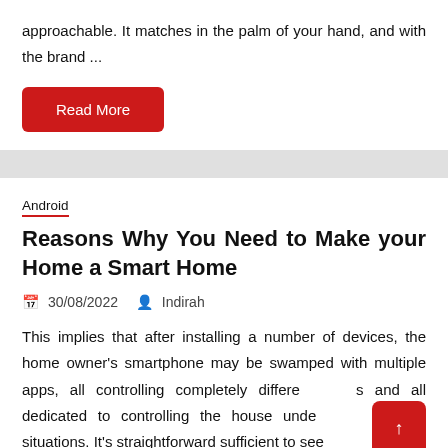approachable. It matches in the palm of your hand, and with the brand ...
Read More
Android
Reasons Why You Need to Make your Home a Smart Home
30/08/2022  Indirah
This implies that after installing a number of devices, the home owner's smartphone may be swamped with multiple apps, all controlling completely different things and all dedicated to controlling the house under normal living situations. It's straightforward sufficient to see